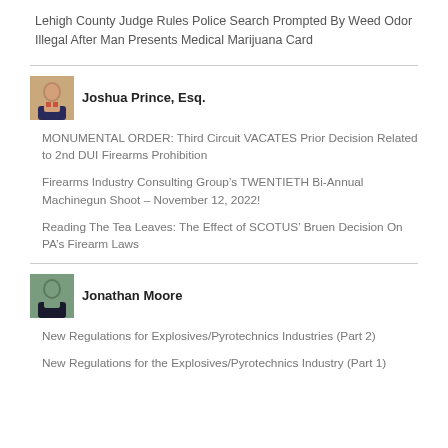Lehigh County Judge Rules Police Search Prompted By Weed Odor Illegal After Man Presents Medical Marijuana Card
Joshua Prince, Esq.
MONUMENTAL ORDER: Third Circuit VACATES Prior Decision Related to 2nd DUI Firearms Prohibition
Firearms Industry Consulting Group’s TWENTIETH Bi-Annual Machinegun Shoot – November 12, 2022!
Reading The Tea Leaves: The Effect of SCOTUS’ Bruen Decision On PA’s Firearm Laws
Jonathan Moore
New Regulations for Explosives/Pyrotechnics Industries (Part 2)
New Regulations for the Explosives/Pyrotechnics Industry (Part 1)